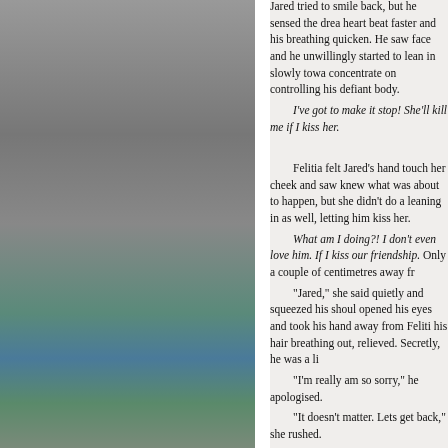[Figure (photo): Left sidebar showing a photograph of a horse or outdoor scene with grey and teal/green tones, partially visible]
Jared tried to smile back, but he sensed the dread heart beat faster and his breathing quicken. He saw face and he unwillingly started to lean in slowly towa concentrate on controlling his defiant body. I've got to make it stop! She'll kill me if I kiss her.

Felitia felt Jared's hand touch her cheek and saw knew what was about to happen, but she didn't do a leaning in as well, letting him kiss her.
 What am I doing?! I don't even love him. If I kiss our friendship. Only a couple of centimetres away fr
 "Jared," she said quietly and squeezed his shoul opened his eyes and took his hand away from Feliti his hair breathing out, relieved. Secretly, he was a li
 "I'm really am so sorry," he apologised.
 "It doesn't matter. Lets get back," she rushed.
 "Oh, one more thing." He took a white silk scarf o want me supporting your arm all the way back to the
 "That would be very, inconvenient," she said ligh
 "Yeah," he laughed. Felitia smiled. Through the w and caring Jared was and just how lucky she was to a bent position and passed the scarf around it, then the way as he tied the scarf in a double knot. He ste
 "There, that should do it," he said, crossing his a Felitia put her free hand on her hip and pulled a not laughed.
 "Come on," she said, walking toward the horses, "Hey!" Jared laughed, jogged over to Felitia and giggled like a little girl. Jared helped her onto his hor